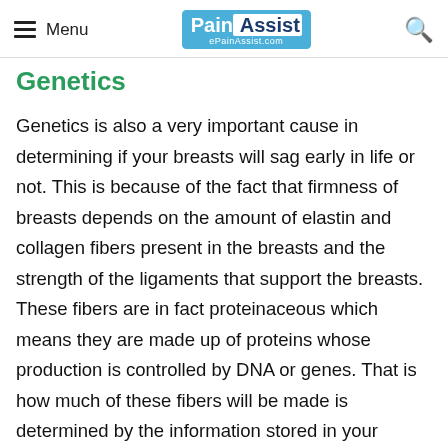Menu | PainAssist ePainAssist.com | [search icon]
Genetics
Genetics is also a very important cause in determining if your breasts will sag early in life or not. This is because of the fact that firmness of breasts depends on the amount of elastin and collagen fibers present in the breasts and the strength of the ligaments that support the breasts. These fibers are in fact proteinaceous which means they are made up of proteins whose production is controlled by DNA or genes. That is how much of these fibers will be made is determined by the information stored in your chromosomes, therefore genetics is also one of